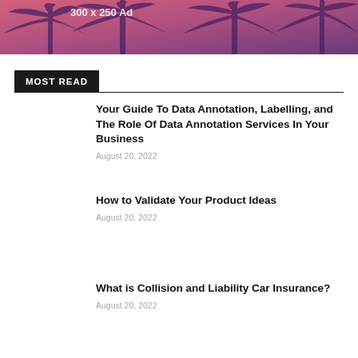[Figure (photo): Advertisement banner image with palm trees silhouette against a pink/purple gradient background. Text reads '300 x 250 Ad']
MOST READ
Your Guide To Data Annotation, Labelling, and The Role Of Data Annotation Services In Your Business
August 20, 2022
How to Validate Your Product Ideas
August 20, 2022
What is Collision and Liability Car Insurance?
August 20, 2022